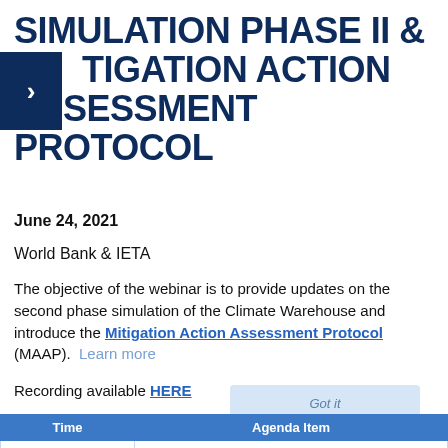SIMULATION PHASE II & MITIGATION ACTION ASSESSMENT PROTOCOL
June 24, 2021
World Bank & IETA
The objective of the webinar is to provide updates on the second phase simulation of the Climate Warehouse and introduce the Mitigation Action Assessment Protocol (MAAP). Learn more
Recording available HERE
| Time | Agenda Item |
| --- | --- |
| 10:00 – 10:10 | Opening Remarks |